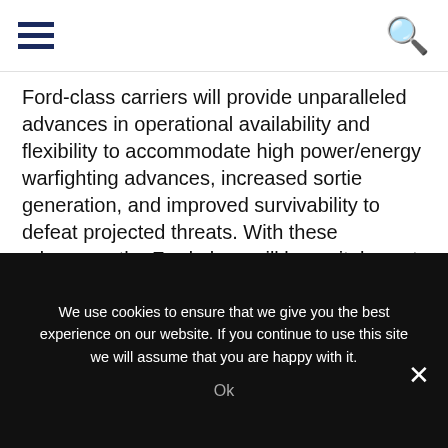Ford-class carriers will provide unparalleled advances in operational availability and flexibility to accommodate high power/energy warfighting advances, increased sortie generation, and improved survivability to defeat projected threats. With these advances, the Ford-class will be a vital asset to the U.S. National Defense Strategy in providing combat-credible naval forces to engage competitors, deter adversaries and protect U.S. security interests globally.
We use cookies to ensure that we give you the best experience on our website. If you continue to use this site we will assume that you are happy with it. Ok